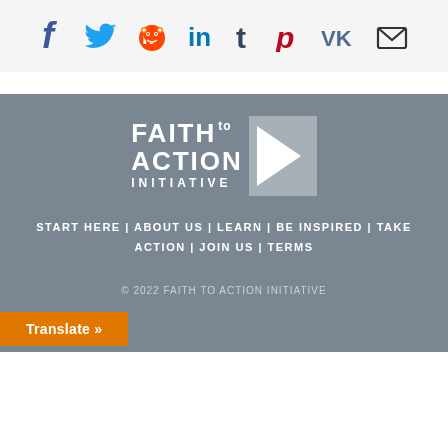[Figure (infographic): Social media share bar with icons for Facebook (blue), Twitter (blue bird), Reddit (orange alien), LinkedIn (blue 'in'), Tumblr (dark blue 't'), Pinterest (red 'p'), VK (dark blue 'VK'), and Email (envelope icon) on a light gray background.]
[Figure (logo): Faith to Action Initiative logo: white bold text reading 'FAITH to ACTION INITIATIVE' with a white arrow/chevron pointing right on a gray background.]
START HERE | ABOUT US | LEARN | BE INSPIRED | TAKE ACTION | JOIN US | TERMS
© 2022 FAITH TO ACTION INITIATIVE
Translate »